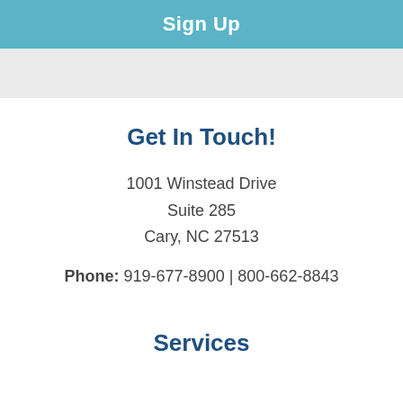Sign Up
Get In Touch!
1001 Winstead Drive
Suite 285
Cary, NC 27513
Phone: 919-677-8900 | 800-662-8843
Services